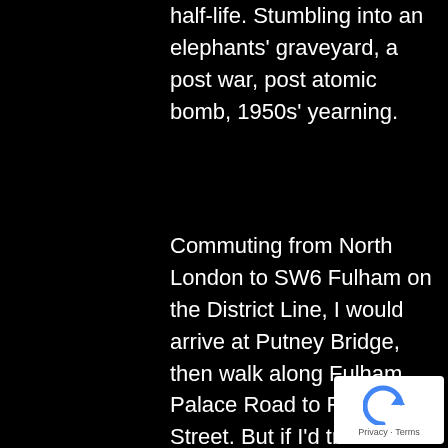half-life. Stumbling into an elephants' graveyard, a post war, post atomic bomb, 1950s' yearning.
Commuting from North London to SW6 Fulham on the District Line, I would arrive at Putney Bridge, then walk along Fulham Palace Road to Finlay Street. But if I'd travelled on the Victoria Line, I would walk home along Fulham Palace Road from the Hammersmith direction. After meeting Joelle; she lived in Richmond, I most commonly walked home down Fulham Palace Road from Hammersmith. That was in 1975. This 2009
[Figure (other): reCAPTCHA badge with Privacy and Terms text]